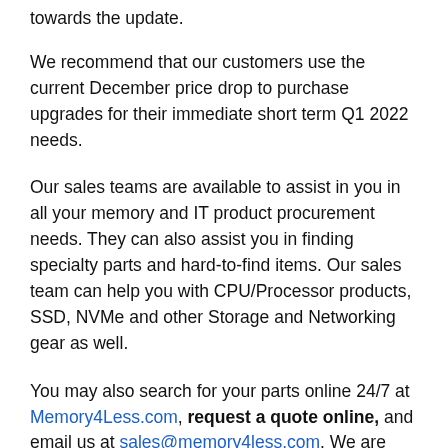towards the update.
We recommend that our customers use the current December price drop to purchase upgrades for their immediate short term Q1 2022 needs.
Our sales teams are available to assist in you in all your memory and IT product procurement needs. They can also assist you in finding specialty parts and hard-to-find items. Our sales team can help you with CPU/Processor products, SSD, NVMe and other Storage and Networking gear as well.
You may also search for your parts online 24/7 at Memory4Less.com, request a quote online, and email us at sales@memory4less.com. We are open Monday – Friday 8am – 5Pm. Please call us at 1-800-821-3354 and ...